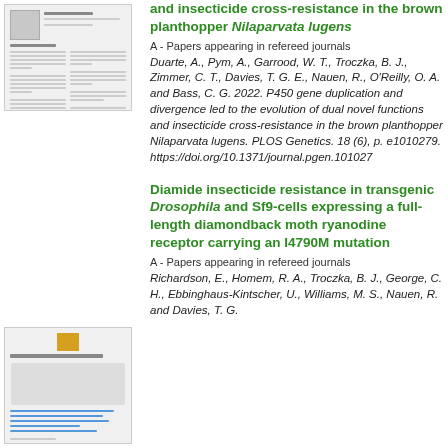[Figure (screenshot): Thumbnail image of a scientific journal article page]
and insecticide cross-resistance in the brown planthopper Nilaparvata lugens
A - Papers appearing in refereed journals
Duarte, A., Pym, A., Garrood, W. T., Troczka, B. J., Zimmer, C. T., Davies, T. G. E., Nauen, R., O'Reilly, O. A. and Bass, C. G. 2022. P450 gene duplication and divergence led to the evolution of dual novel functions and insecticide cross-resistance in the brown planthopper Nilaparvata lugens. PLOS Genetics. 18 (6), p. e1010279. https://doi.org/10.1371/journal.pgen.101027
[Figure (screenshot): Thumbnail image of a second scientific journal article page]
Diamide insecticide resistance in transgenic Drosophila and Sf9-cells expressing a full-length diamondback moth ryanodine receptor carrying an I4790M mutation
A - Papers appearing in refereed journals
Richardson, E., Homem, R. A., Troczka, B. J., George, C. H., Ebbinghaus-Kintscher, U., Williams, M. S., Nauen, R. and Davies, T. G.